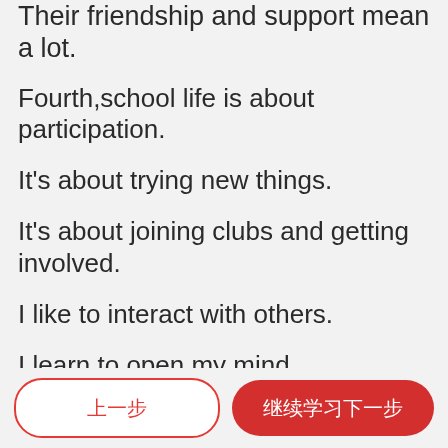Their friendship and support mean a lot.
Fourth,school life is about participation.
It's about trying new things.
It's about joining clubs and getting involved.
I like to interact with others.
I learn to open my mind.
I discover who I am and what I like.
I create fond memories.
上一步    继续学习下一步